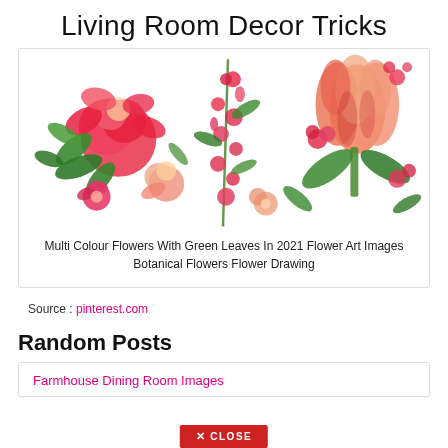Living Room Decor Tricks
[Figure (illustration): Illustration of multi-colour flowers with green leaves including red roses, pink blooms, and peach tulips on white background]
Multi Colour Flowers With Green Leaves In 2021 Flower Art Images Botanical Flowers Flower Drawing
Source : pinterest.com
Random Posts
Farmhouse Dining Room Images